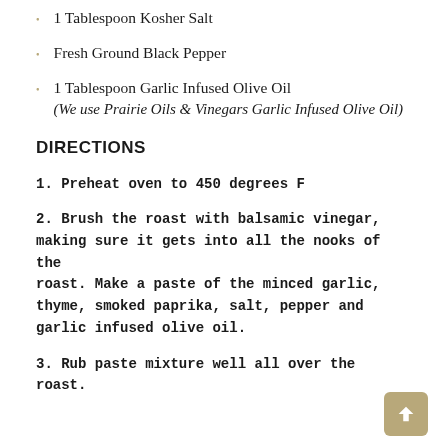1 Tablespoon Kosher Salt
Fresh Ground Black Pepper
1 Tablespoon Garlic Infused Olive Oil (We use Prairie Oils & Vinegars Garlic Infused Olive Oil)
DIRECTIONS
1. Preheat oven to 450 degrees F
2. Brush the roast with balsamic vinegar, making sure it gets into all the nooks of the roast. Make a paste of the minced garlic, thyme, smoked paprika, salt, pepper and garlic infused olive oil.
3. Rub paste mixture well all over the roast.